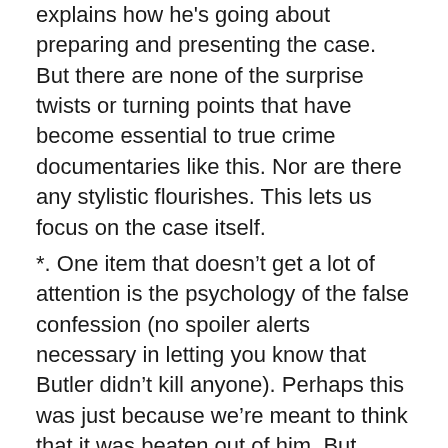explains how he's going about preparing and presenting the case. But there are none of the surprise twists or turning points that have become essential to true crime documentaries like this. Nor are there any stylistic flourishes. This lets us focus on the case itself.
*. One item that doesn't get a lot of attention is the psychology of the false confession (no spoiler alerts necessary in letting you know that Butler didn't kill anyone). Perhaps this was just because we're meant to think that it was beaten out of him. But while Butler was beaten by the police, there's usually more to a false confession than that, and it would have been interesting to dig into this a bit deeper. But then this isn't a doc that goes beyond the story itself to interview experts on other matters.
*. The other point that stands out is just how bad the police were. My own sense is that when the police screw up like